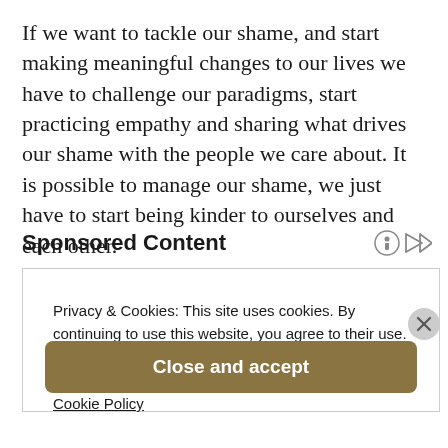If we want to tackle our shame, and start making meaningful changes to our lives we have to challenge our paradigms, start practicing empathy and sharing what drives our shame with the people we care about. It is possible to manage our shame, we just have to start being kinder to ourselves and each other.
Sponsored Content
Privacy & Cookies: This site uses cookies. By continuing to use this website, you agree to their use.
To find out more, including how to control cookies, see here: Cookie Policy
Close and accept